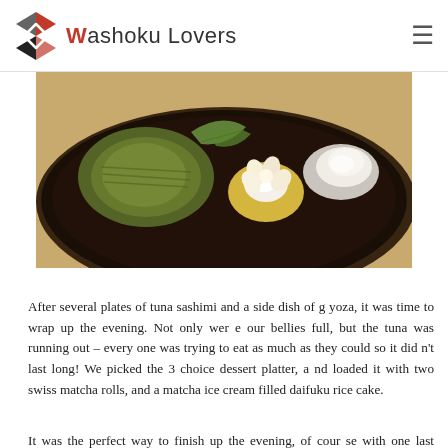Washoku Lovers
[Figure (photo): Close-up photo of Japanese desserts on a dark round plate: matcha swiss rolls and a flower-shaped mochi/daifuku rice cake decoration, on a wooden table background.]
After several plates of tuna sashimi and a side dish of gyoza, it was time to wrap up the evening. Not only were our bellies full, but the tuna was running out – everyone was trying to eat as much as they could so it didn't last long! We picked the 3 choice dessert platter, and loaded it with two swiss matcha rolls, and a matcha ice cream filled daifuku rice cake.
It was the perfect way to finish up the evening, of course with one last round of drinks...